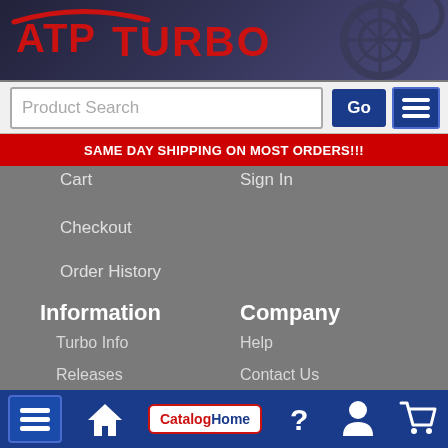[Figure (logo): ATP Turbo logo with red text on dark background with circuit/wheel design]
Product Search
Go
SAME DAY SHIPPING ON MOST ORDERS!!!
Cart
Sign In
Checkout
Order History
Information
Company
Turbo Info
Help
Releases
Contact Us
Vehicle Specific
Announcements
Race Scoreboard
Product Request
Turbo Match
Inquire to Resell
Sponsorships
About ATP
FAQ
Garrett Part# Search
CatalogHome